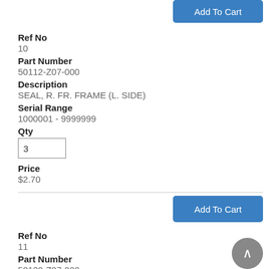Add To Cart
Ref No
10
Part Number
50112-Z07-000
Description
SEAL, R. FR. FRAME (L. SIDE)
Serial Range
1000001 - 9999999
Qty
3
Price
$2.70
Add To Cart
Ref No
11
Part Number
50120-Z07-000